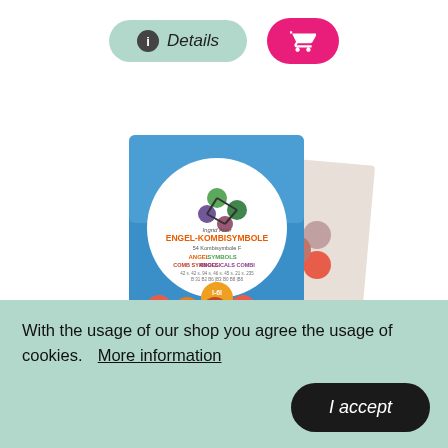[Figure (screenshot): Two buttons: a light green pill-shaped 'Details' button with info icon, and a pink/magenta pill-shaped shopping cart button]
[Figure (photo): Product image showing a box of 'Engel-Kombisymbole' (Angel Combo Symbols) card set with colorful sticker dots, blue and white packaging]
With the usage of our shop you agree the usage of cookies.   More information
I accept